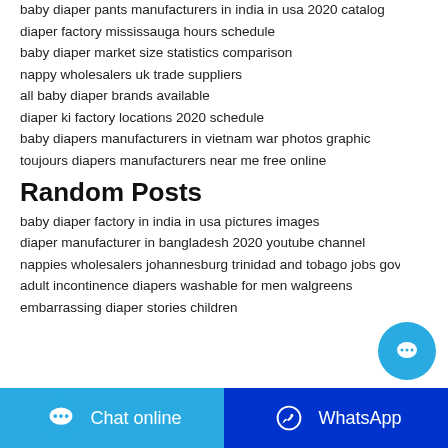baby diaper pants manufacturers in india in usa 2020 catalog
diaper factory mississauga hours schedule
baby diaper market size statistics comparison
nappy wholesalers uk trade suppliers
all baby diaper brands available
diaper ki factory locations 2020 schedule
baby diapers manufacturers in vietnam war photos graphic
toujours diapers manufacturers near me free online
Random Posts
baby diaper factory in india in usa pictures images
diaper manufacturer in bangladesh 2020 youtube channel
nappies wholesalers johannesburg trinidad and tobago jobs government
adult incontinence diapers washable for men walgreens
embarrassing diaper stories children